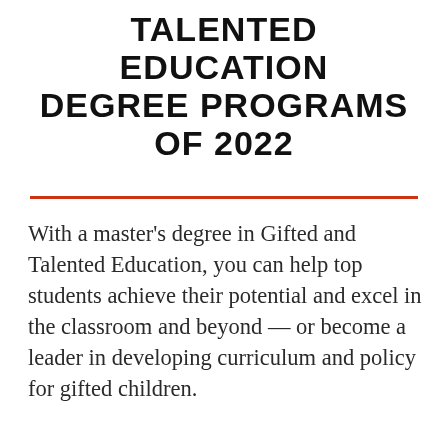TALENTED EDUCATION DEGREE PROGRAMS OF 2022
With a master's degree in Gifted and Talented Education, you can help top students achieve their potential and excel in the classroom and beyond — or become a leader in developing curriculum and policy for gifted children.